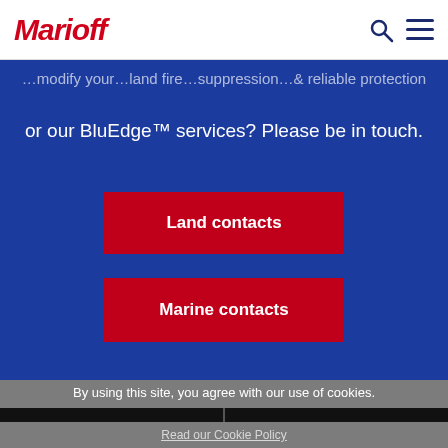[Figure (logo): Marioff logo in red italic text]
...modify your...land fire...suppression / protection
or our BluEdge™ services? Please be in touch.
Land contacts
Marine contacts
By using this site, you agree with our use of cookies.
I consent to cookies
Want to know more?
Read our Cookie Policy